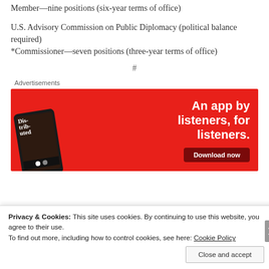Member—nine positions (six-year terms of office)
U.S. Advisory Commission on Public Diplomacy (political balance required)
*Commissioner—seven positions (three-year terms of office)
#
Advertisements
[Figure (illustration): Red advertisement banner for a podcast app showing a smartphone with 'Dis-trib-uted' text on screen, with headline 'An app by listeners, for listeners.' and a 'Download now' button]
Privacy & Cookies: This site uses cookies. By continuing to use this website, you agree to their use.
To find out more, including how to control cookies, see here: Cookie Policy